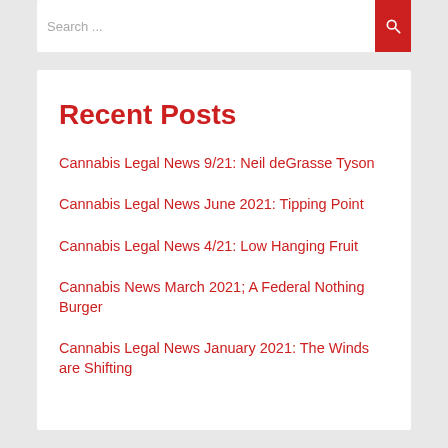Search ...
Recent Posts
Cannabis Legal News 9/21: Neil deGrasse Tyson
Cannabis Legal News June 2021: Tipping Point
Cannabis Legal News 4/21: Low Hanging Fruit
Cannabis News March 2021; A Federal Nothing Burger
Cannabis Legal News January 2021: The Winds are Shifting